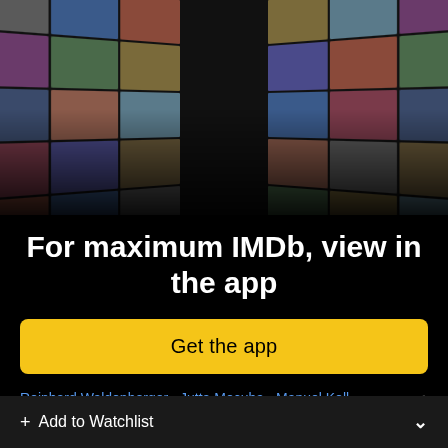[Figure (screenshot): IMDb app promotional collage showing movie posters and actor photos arranged in perspective on black background]
For maximum IMDb, view in the app
Get the app
Reinhard Waldenberger · Jutta Mocuba · Manuel Koll
+ Add to Watchlist